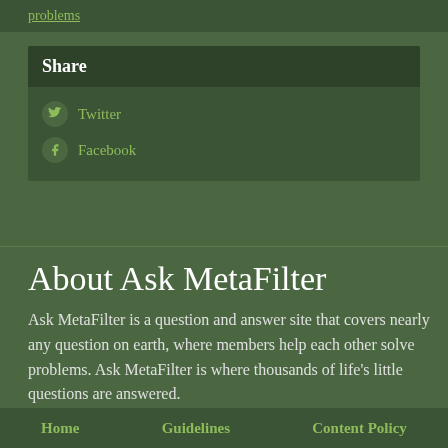problems
Share
Twitter
Facebook
About Ask MetaFilter
Ask MetaFilter is a question and answer site that covers nearly any question on earth, where members help each other solve problems. Ask MetaFilter is where thousands of life's little questions are answered.
Home   Guidelines   Content Policy